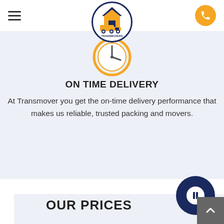[Figure (logo): Transmovers logo: circular badge with dark navy border, truck and house icon in gold/yellow, text TRANSMOVERS below]
[Figure (illustration): Orange clock icon circle — on-time delivery symbol]
ON TIME DELIVERY
At Transmover you get the on-time delivery performance that makes us reliable, trusted packing and movers.
[Figure (illustration): Dark navy circle with white inner circle containing a white rectangle — info/pause button UI element]
OUR PRICES
[Figure (illustration): Back to top button — dark grey square with white upward-pointing chevron]